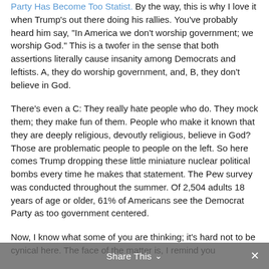Party Has Become Too Statist. By the way, this is why I love it when Trump's out there doing his rallies. You've probably heard him say, "In America we don't worship government; we worship God." This is a twofer in the sense that both assertions literally cause insanity among Democrats and leftists. A, they do worship government, and, B, they don't believe in God.
There's even a C: They really hate people who do. They mock them; they make fun of them. People who make it known that they are deeply religious, devoutly religious, believe in God? Those are problematic people to people on the left. So here comes Trump dropping these little miniature nuclear political bombs every time he makes that statement. The Pew survey was conducted throughout the summer. Of 2,504 adults 18 years of age or older, 61% of Americans see the Democrat Party as too government centered.
Now, I know what some of you are thinking; it's hard not to be cynical here. The face of the matter is, I remind you